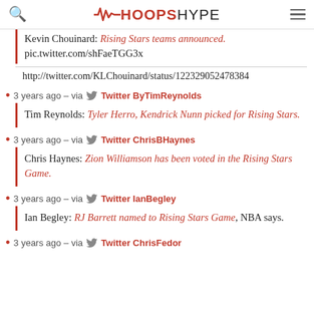HoopsHype
Kevin Chouinard: Rising Stars teams announced. pic.twitter.com/shFaeTGG3x
http://twitter.com/KLChouinard/status/122329052478384
3 years ago – via Twitter ByTimReynolds
Tim Reynolds: Tyler Herro, Kendrick Nunn picked for Rising Stars.
3 years ago – via Twitter ChrisBHaynes
Chris Haynes: Zion Williamson has been voted in the Rising Stars Game.
3 years ago – via Twitter IanBegley
Ian Begley: RJ Barrett named to Rising Stars Game, NBA says.
3 years ago – via Twitter ChrisFedor